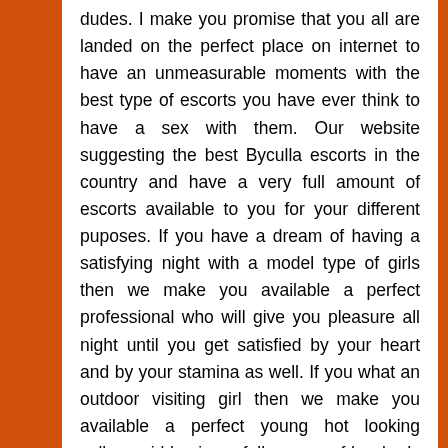dudes. I make you promise that you all are landed on the perfect place on internet to have an unmeasurable moments with the best type of escorts you have ever think to have a sex with them. Our website suggesting the best Byculla escorts in the country and have a very full amount of escorts available to you for your different puposes. If you have a dream of having a satisfying night with a model type of girls then we make you available a perfect professional who will give you pleasure all night until you get satisfied by your heart and by your stamina as well. If you what an outdoor visiting girl then we make you available a perfect young hot looking college girl having a full access of her body parts and lips. If you want to have smooches of a cinema hall sex then we can make you available a perfect teen type of girl whose you can feel her breasts and take a full deep passionate french kisses and